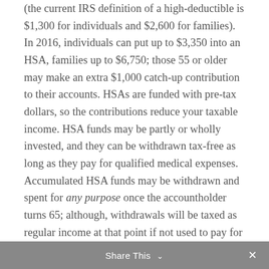(the current IRS definition of a high-deductible is $1,300 for individuals and $2,600 for families). In 2016, individuals can put up to $3,350 into an HSA, families up to $6,750; those 55 or older may make an extra $1,000 catch-up contribution to their accounts. HSAs are funded with pre-tax dollars, so the contributions reduce your taxable income. HSA funds may be partly or wholly invested, and they can be withdrawn tax-free as long as they pay for qualified medical expenses. Accumulated HSA funds may be withdrawn and spent for any purpose once the accountholder turns 65; although, withdrawals will be taxed as regular income at that point if not used to pay for qualified health care costs.⁵
Share This ×